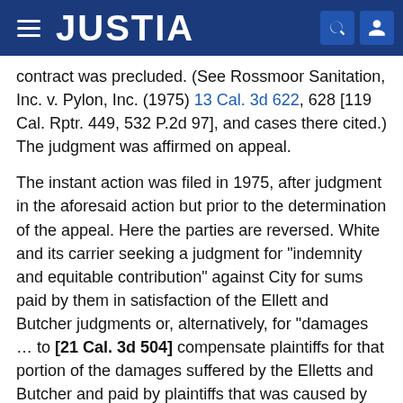JUSTIA
contract was precluded. (See Rossmoor Sanitation, Inc. v. Pylon, Inc. (1975) 13 Cal. 3d 622, 628 [119 Cal. Rptr. 449, 532 P.2d 97], and cases there cited.) The judgment was affirmed on appeal.
The instant action was filed in 1975, after judgment in the aforesaid action but prior to the determination of the appeal. Here the parties are reversed. White and its carrier seeking a judgment for "indemnity and equitable contribution" against City for sums paid by them in satisfaction of the Ellett and Butcher judgments or, alternatively, for "damages ... to [21 Cal. 3d 504] compensate plaintiffs for that portion of the damages suffered by the Elletts and Butcher and paid by plaintiffs that was caused by defendant's active negligence." City's demurrer, as here relevant, advanced two essential grounds. [1] These were (1) that plaintiffs' action was